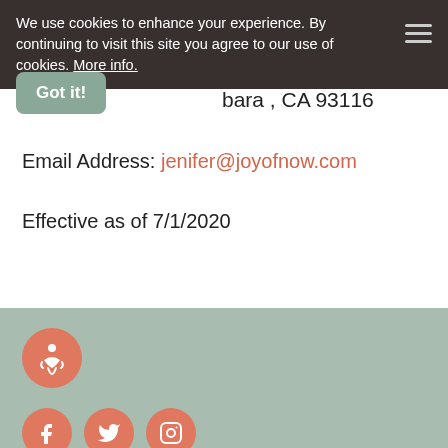We use cookies to enhance your experience. By continuing to visit this site you agree to our use of cookies. More info.
Got it!
bara , CA 93116
Email Address: jenifer@joyofnow.com
Effective as of 7/1/2020
[Figure (logo): Yoga/meditation figure icon in white on salmon circle]
[Figure (logo): Social media icons: Facebook, Twitter, Instagram on salmon circles]
Home
About
Blog
Contact me
[Figure (other): Back to top button with upward chevron on salmon circle]